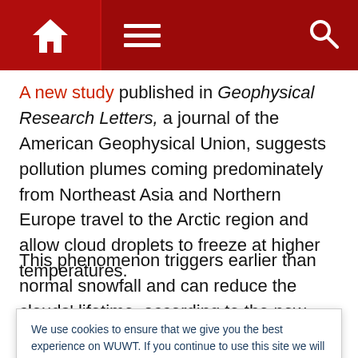WUWT navigation bar with home, menu, and search icons
A new study published in Geophysical Research Letters, a journal of the American Geophysical Union, suggests pollution plumes coming predominately from Northeast Asia and Northern Europe travel to the Arctic region and allow cloud droplets to freeze at higher temperatures.
This phenomenon triggers earlier than normal snowfall and can reduce the clouds' lifetime, according to the new research. The shorter the clouds live, the less they are
We use cookies to ensure that we give you the best experience on WUWT. If you continue to use this site we will assume that you are happy with it. This notice is required by recently enacted EU GDPR rules, and since WUWT is a globally read website, we need to keep the bureaucrats off our case! Cookie Policy
pollution from mid-latitudes can disrupt polar